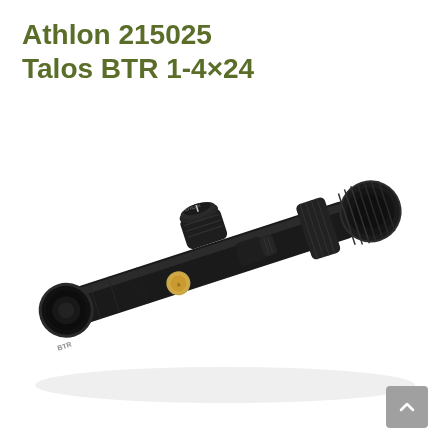Athlon 215025 Talos BTR 1-4×24
[Figure (photo): Athlon 215025 Talos BTR 1-4x24 rifle scope shown diagonally, matte black finish with adjustment turrets and magnification ring, BTR label on the objective end, gold Athlon logo medallion on the body, viewed from the left side against a white background.]